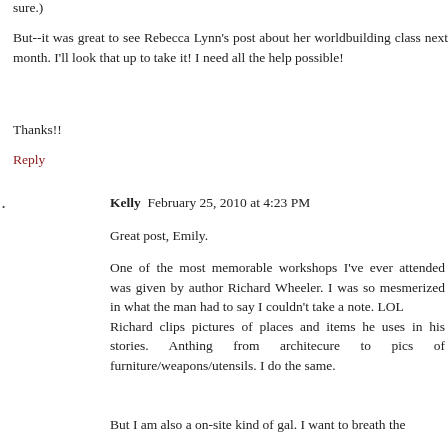sure.)
But--it was great to see Rebecca Lynn's post about her worldbuilding class next month. I'll look that up to take it! I need all the help possible!
Thanks!!
Reply
Kelly  February 25, 2010 at 4:23 PM
Great post, Emily.
One of the most memorable workshops I've ever attended was given by author Richard Wheeler. I was so mesmerized in what the man had to say I couldn't take a note. LOL
Richard clips pictures of places and items he uses in his stories. Anthing from architecure to pics of furniture/weapons/utensils. I do the same.
But I am also a on-site kind of gal. I want to breath the